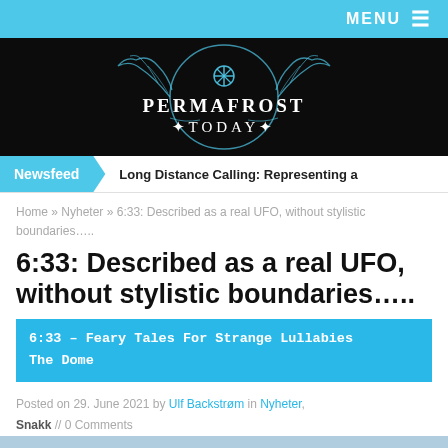MENU ≡
[Figure (logo): Permafrost Today website logo banner — black background with teal decorative antler/snowflake design and text PERMAFROST TODAY]
Newsfeed | Long Distance Calling: Representing a
Home » Nyheter » 6:33: Described as a real UFO, without stylistic boundaries…..
6:33: Described as a real UFO, without stylistic boundaries…..
6:33 – Feary Tales For Strange Lullabies
The Dome
Posted on 29. June 2021 by Ulf Backstrøm in Nyheter, Snakk // 0 Comments